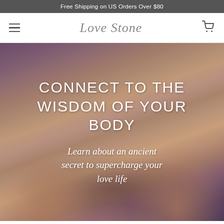Free Shipping on US Orders Over $80
[Figure (screenshot): Love Stone website navigation bar with hamburger menu icon on left, cursive 'Love Stone' logo in center, and shopping cart icon on right]
[Figure (photo): Hero image showing a pair of cupped hands holding a small green stone, with purple/reddish blurred background. Overlaid with white text: 'CONNECT TO THE WISDOM OF YOUR BODY' and 'Learn about an ancient secret to supercharge your love life']
CONNECT TO THE WISDOM OF YOUR BODY
Learn about an ancient secret to supercharge your love life